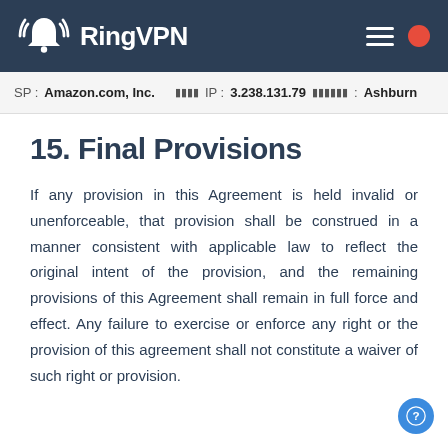RingVPN
SP: Amazon.com, Inc.  IP: 3.238.131.79  [location]: Ashburn
15. Final Provisions
If any provision in this Agreement is held invalid or unenforceable, that provision shall be construed in a manner consistent with applicable law to reflect the original intent of the provision, and the remaining provisions of this Agreement shall remain in full force and effect. Any failure to exercise or enforce any right or the provision of this agreement shall not constitute a waiver of such right or provision.